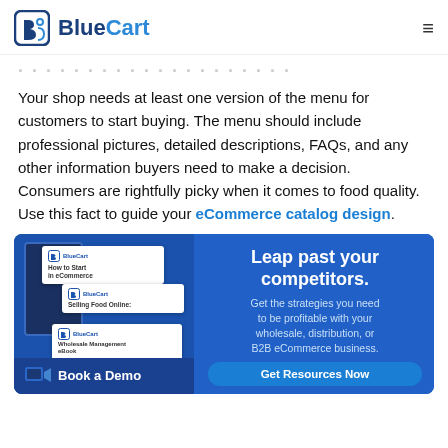BlueCart
...p...g...
Your shop needs at least one version of the menu for customers to start buying. The menu should include professional pictures, detailed descriptions, FAQs, and any other information buyers need to make a decision. Consumers are rightfully picky when it comes to food quality. Use this fact to guide your eCommerce catalog design.
[Figure (infographic): BlueCart promotional banner: left side shows eBook covers on a tablet with 'Book a Demo' bar; right side shows 'Leap past your competitors. Get the strategies you need to be profitable with your wholesale, distribution, or B2B eCommerce business. Get Resources Now' on blue background.]